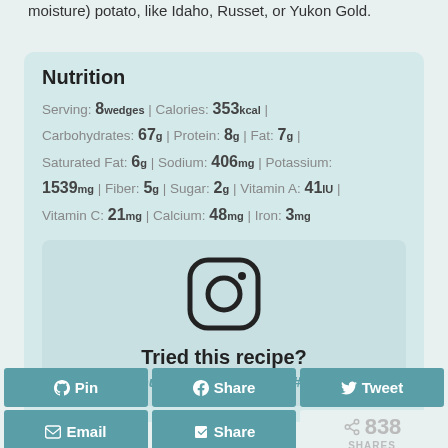moisture) potato, like Idaho, Russet, or Yukon Gold.
Nutrition
Serving: 8wedges | Calories: 353kcal | Carbohydrates: 67g | Protein: 8g | Fat: 7g | Saturated Fat: 6g | Sodium: 406mg | Potassium: 1539mg | Fiber: 5g | Sugar: 2g | Vitamin A: 41IU | Vitamin C: 21mg | Calcium: 48mg | Iron: 3mg
[Figure (logo): Instagram camera icon]
Tried this recipe?
Mention @busybakerblog or tag #busybaker!
Pin
Share
Tweet
Email
Share
838 SHARES